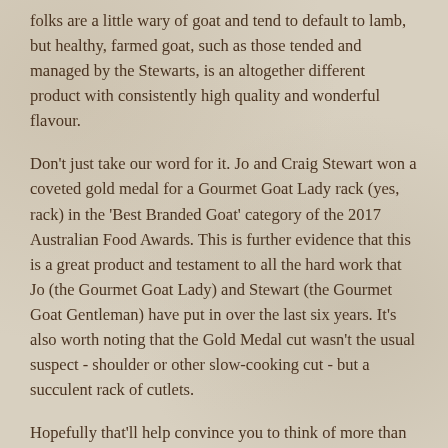folks are a little wary of goat and tend to default to lamb, but healthy, farmed goat, such as those tended and managed by the Stewarts, is an altogether different product with consistently high quality and wonderful flavour.
Don't just take our word for it. Jo and Craig Stewart won a coveted gold medal for a Gourmet Goat Lady rack (yes, rack) in the 'Best Branded Goat' category of the 2017 Australian Food Awards. This is further evidence that this is a great product and testament to all the hard work that Jo (the Gourmet Goat Lady) and Stewart (the Gourmet Goat Gentleman) have put in over the last six years. It's also worth noting that the Gold Medal cut wasn't the usual suspect - shoulder or other slow-cooking cut - but a succulent rack of cutlets.
Hopefully that'll help convince you to think of more than just curry when you think of goat.